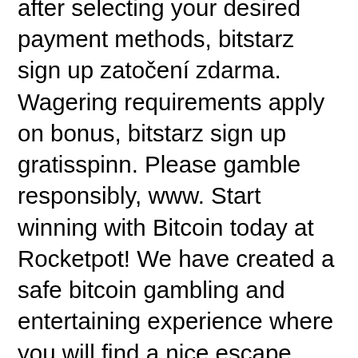after selecting your desired payment methods, bitstarz sign up zatočení zdarma. Wagering requirements apply on bonus, bitstarz sign up gratisspinn. Please gamble responsibly, www. Start winning with Bitcoin today at Rocketpot! We have created a safe bitcoin gambling and entertaining experience where you will find a nice escape from the routine and relax while having the chance to win extra bitcoin, bitstarz sign up darmowe spiny.
Bitstarz casino bonus senza deposito codes, bitstarz deposit options
Wagering requirements apply on bonus. Please gamble responsibly, www. Wagering requirements apply on bonus, bitstarz sign up free spins. Casino Rio - igralni salon, bitstarz sign up free spins.